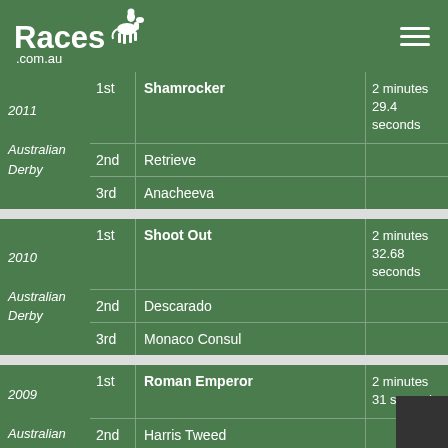Races .com.au
| Year | Position | Horse | Time |
| --- | --- | --- | --- |
| 2011 Australian Derby | 1st | Shamrocker | 2 minutes 29.4 seconds |
| 2011 Australian Derby | 2nd | Retrieve |  |
| 2011 Australian Derby | 3rd | Anacheeva |  |
| 2010 Australian Derby | 1st | Shoot Out | 2 minutes 32.68 seconds |
| 2010 Australian Derby | 2nd | Descarado |  |
| 2010 Australian Derby | 3rd | Monaco Consul |  |
| 2009 Australian Derby | 1st | Roman Emperor | 2 minutes 31 seconds |
| 2009 Australian Derby | 2nd | Harris Tweed |  |
| 2009 Australian Derby | 3rd | Predatory Pricer |  |
| 2008 Australian Derby | 1st | Nom De Jeu | 2 minutes 36.2 seconds |
| 2008 Australian Derby | 2nd | Red Ruler |  |
| 2008 Australian Derby | 3rd | Littorio |  |